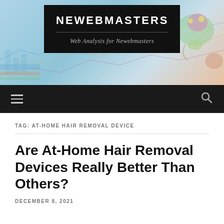[Figure (illustration): Website header banner with financial charts background (blue tones, line graphs, bar charts, pie charts) and a colorful chameleon/frog illustration on the right side. A dark rectangular logo box is centered containing the site name NEWEBMASTERS and tagline.]
NEWEBMASTERS
Web Analysis for Newebmasters
TAG: AT-HOME HAIR REMOVAL DEVICE
Are At-Home Hair Removal Devices Really Better Than Others?
DECEMBER 8, 2021